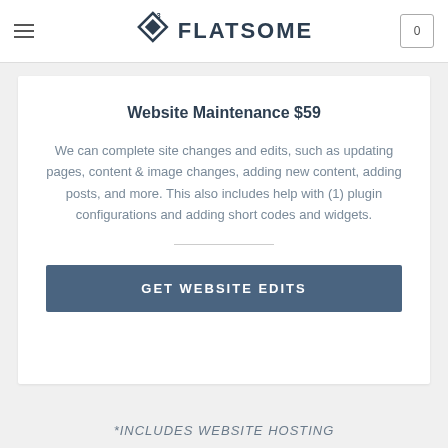FLATSOME
Website Maintenance $59
We can complete site changes and edits, such as updating pages, content & image changes, adding new content, adding posts, and more. This also includes help with (1) plugin configurations and adding short codes and widgets.
GET WEBSITE EDITS
*INCLUDES WEBSITE HOSTING